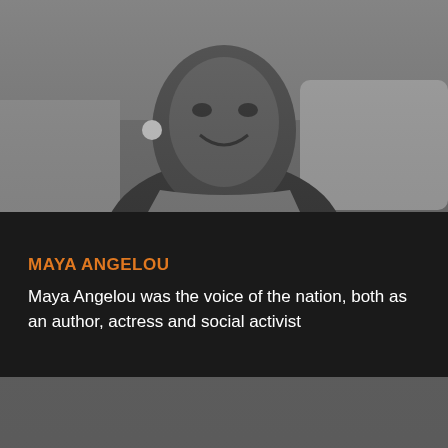[Figure (photo): Black and white photograph of Maya Angelou, an older woman smiling, wearing a patterned top and hoop earrings, seated indoors]
MAYA ANGELOU
Maya Angelou was the voice of the nation, both as an author, actress and social activist
[Figure (photo): Black and white photograph of a woman singing into a microphone on stage, with a musician playing bass in the background]